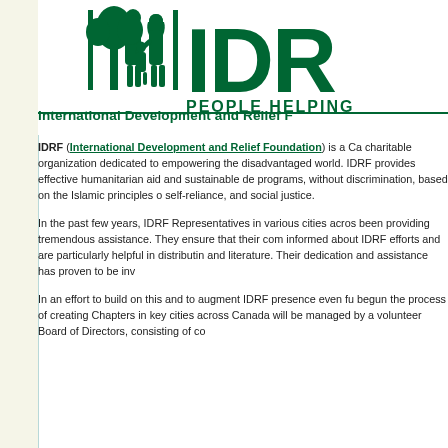[Figure (logo): IDRF logo showing silhouette of family with tree, large green letters IDR (partially visible), and text PEOPLE HELPING below]
International Development and Relief F
IDRF (International Development and Relief Foundation) is a Ca charitable organization dedicated to empowering the disadvantaged world. IDRF provides effective humanitarian aid and sustainable de programs, without discrimination, based on the Islamic principles o self-reliance, and social justice.
In the past few years, IDRF Representatives in various cities acros been providing tremendous assistance. They ensure that their com informed about IDRF efforts and are particularly helpful in distributin and literature. Their dedication and assistance has proven to be inv
In an effort to build on this and to augment IDRF presence even fu begun the process of creating Chapters in key cities across Canada will be managed by a volunteer Board of Directors, consisting of co